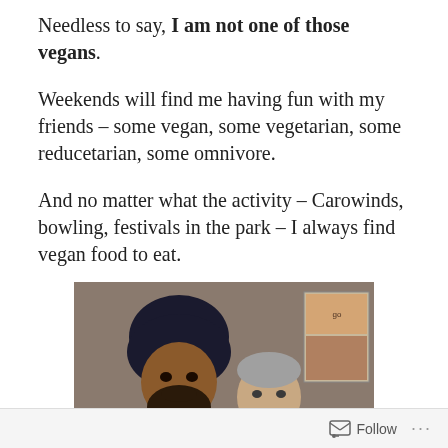Needless to say, I am not one of those vegans.
Weekends will find me having fun with my friends – some vegan, some vegetarian, some reducetarian, some omnivore.
And no matter what the activity – Carowinds, bowling, festivals in the park – I always find vegan food to eat.
[Figure (photo): Two men posing together for a photo. The man on the left is wearing a dark turban and dark shirt with a yellow graphic. The man on the right is an older man with grey hair. There is a framed poster visible in the background.]
Follow ...